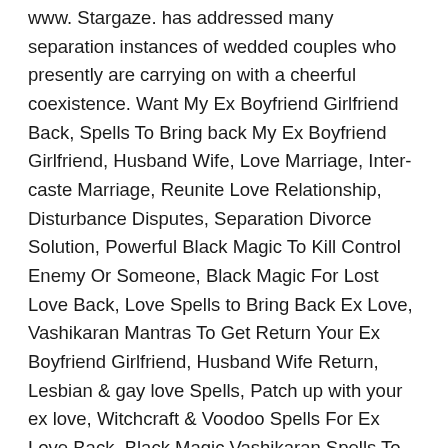www. Stargaze. has addressed many separation instances of wedded couples who presently are carrying on with a cheerful coexistence. Want My Ex Boyfriend Girlfriend Back, Spells To Bring back My Ex Boyfriend Girlfriend, Husband Wife, Love Marriage, Inter-caste Marriage, Reunite Love Relationship, Disturbance Disputes, Separation Divorce Solution, Powerful Black Magic To Kill Control Enemy Or Someone, Black Magic For Lost Love Back, Love Spells to Bring Back Ex Love, Vashikaran Mantras To Get Return Your Ex Boyfriend Girlfriend, Husband Wife Return, Lesbian & gay love Spells, Patch up with your ex love, Witchcraft & Voodoo Spells For Ex Love Back, Black Magic Vashikaran Spells To Control Someone, Black Magic To Kill Enemy, Black Magic To Destroy Someone, Black Magic Specialist, Black Magic To Want Kill Enemy Forever, Black magic Mantras To Destroy Someone, Black Magic Spells Specialist Black Magic To Want Kill Someone, Black Magic Spells To Destroy Enemy, Want Kill Someone With Black Magic, Black Magic Mantras Spells,